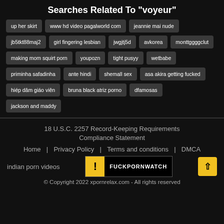Searches Related To "voyeur"
up her skirt
www hd video pagalworld com
jeannie mai nude
jb5tkt88maj2
girl fingering lesbian
jwgjtj5d
avkorea
monttggggclut
making mom squirt porn
youpozn
tight pusyy
wetbabe
priminha safadinha
ante hindi
shemall sex
asa akira getting fucked
hiép dâm giáo viên
bruna black atriz porno
dfamosas
jackson and maddy
18 U.S.C. 2257 Record-Keeping Requirements Compliance Statement
Home   Privacy Policy   Terms and conditions   DMCA
indian porn videos
© Copyright 2022 xpornrelax.com - All rights reserved